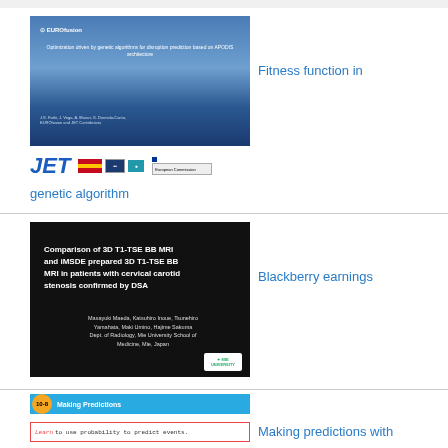[Figure (screenshot): EUROfusion JET slide: Optimization driven by genetic algorithms for disruption prediction based on APODIS architecture. Blue gradient slide with authors and JET/EU logos below.]
Fitness function in
genetic algorithm
[Figure (screenshot): Black slide: Comparison of 3D T1-TSE BB MRI and iMSDE prepared 3D T1-TSE BB MRI in patients with cervical carotid stenosis confirmed by DSA. Authors: Masayuki Maeda, Katsuhiro Inoue, Tsunehiro Yamahata, Maki Umino, Hajime Sakuma. Dept. of Radiology, Mie University School of Medicine, Mie, Japan.]
Blackberry earnings
[Figure (screenshot): Blue banner slide: 10-8 Making Predictions. Text: Learn to use probability to predict events.]
Making predictions with